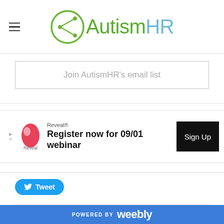[Figure (logo): AutismHR logo with green circle share icon and teal/green text]
Join AutismHR's email list
[Figure (infographic): Reveal webinar advertisement banner: 'Register now for 09/01 webinar' with Sign Up button]
[Figure (other): Tweet button in blue]
Comments are closed.
POWERED BY weebly